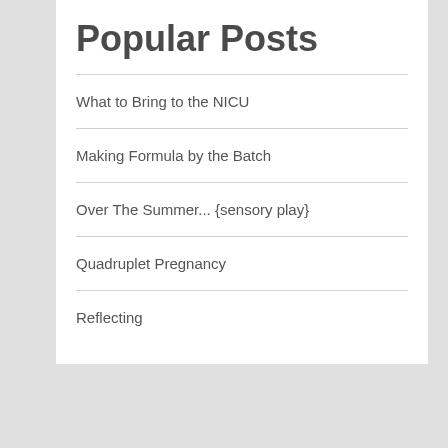Popular Posts
What to Bring to the NICU
Making Formula by the Batch
Over The Summer... {sensory play}
Quadruplet Pregnancy
Reflecting
[Figure (other): Broken image placeholder with alt text: I'm A Top Twin & Multiple Blogger @ Top Mommy Blogs - Please Click To Give Me A Vote]